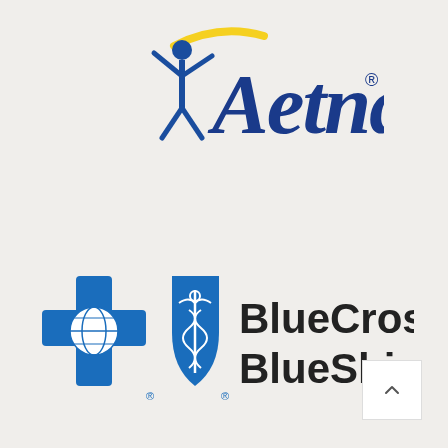[Figure (logo): Aetna logo — blue figure with arms raised and yellow arc above head, with 'Aetna' in large blue serif italic text and registered trademark symbol]
[Figure (logo): BlueCross BlueShield logo — blue cross icon with globe design and blue shield icon with caduceus, followed by 'BlueCross BlueShield' in bold black text with registered trademark symbol]